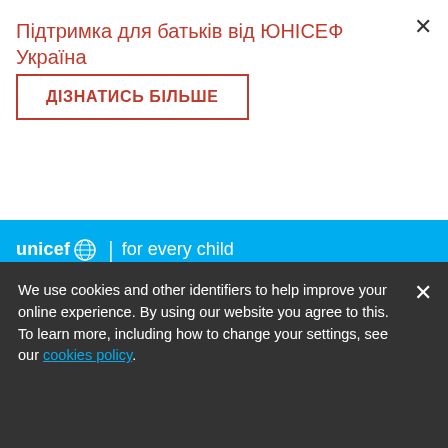Підтримка для батьків від ЮНІСЕФ Україна
ДІЗНАТИСЬ БІЛЬШЕ
[Figure (logo): UNICEF logo with globe icon and tagline 'for every child', subtext 'Europe and Central Asia' on cyan background]
DONATE
Child Guarantee (ESG) was adopted by the European Union's Employment, Social Policy, Health and Consumer
UNICEF Home
We use cookies and other identifiers to help improve your online experience. By using our website you agree to this. To learn more, including how to change your settings, see our cookies policy.